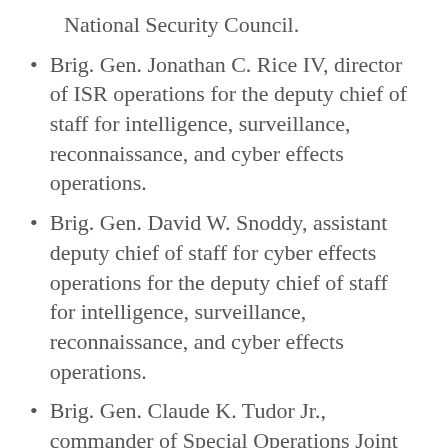National Security Council.
Brig. Gen. Jonathan C. Rice IV, director of ISR operations for the deputy chief of staff for intelligence, surveillance, reconnaissance, and cyber effects operations.
Brig. Gen. David W. Snoddy, assistant deputy chief of staff for cyber effects operations for the deputy chief of staff for intelligence, surveillance, reconnaissance, and cyber effects operations.
Brig. Gen. Claude K. Tudor Jr., commander of Special Operations Joint Task Force-Levant in Southwest Asia.
Brig. Gen. Sean K. Tyler, commander of